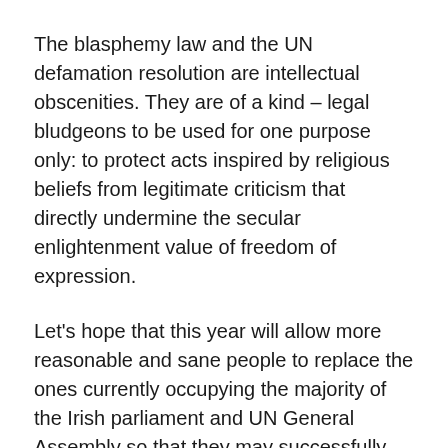The blasphemy law and the UN defamation resolution are intellectual obscenities. They are of a kind – legal bludgeons to be used for one purpose only: to protect acts inspired by religious beliefs from legitimate criticism that directly undermine the secular enlightenment value of freedom of expression.
Let's hope that this year will allow more reasonable and sane people to replace the ones currently occupying the majority of the Irish parliament and UN General Assembly so that they may successfully repeal these examples of religious pornography. Let's make a resolution to support those who criticize the intrusion of religious beliefs into the public domain, those who criticize the abuse of national and international law to wreak havoc on individual rights and freedoms. Let's give them our support. The